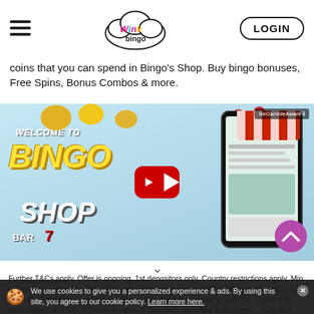Wink Bingo | LOGIN
coins that you can spend in Bingo's Shop. Buy bingo bonuses, Free Spins, Bonus Combos & more.
[Figure (screenshot): YouTube video thumbnail for 'Welcome to Bingo Shop' promotional video from Wink Bingo, showing bingo-themed imagery with bells, coins, red and white striped awning on a mobile phone screen, and the text WELCOME TO BINGO SHOP with BAR 7 slot symbols. BeGambleAware badge in top right. YouTube play button in center. Purple arrow-up button bottom right.]
Further T&Cs apply. Offer is ongoing. 1st depositors only. Country restrictions apply. Min £10 deposit with code: WINK400, get 200% bingo bonus [BB], 200% games bonus [GB] (max £100 per bonus) & 50 Free Spins (FS). Must be claimed & valid for 7 days. GB wins capped at £100. FS have a value of 10p each. Bonuses & winnings ... fully and ... apply. Further T&Cs apply.
We use cookies to give you a personalized experience & ads. By using this site, you agree to our cookie policy. Learn more here.